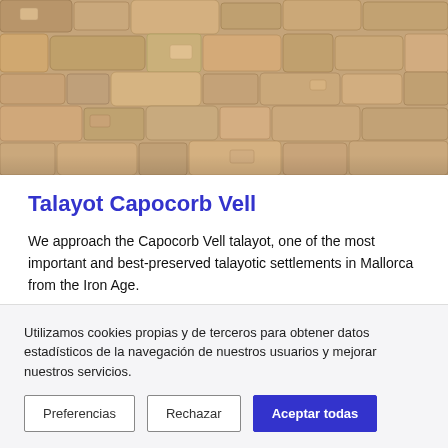[Figure (photo): Photo of a stone wall with tan, beige, and gray stones closely packed together, typical of ancient talayotic construction in Mallorca.]
Talayot Capocorb Vell
We approach the Capocorb Vell talayot, one of the most important and best-preserved talayotic settlements in Mallorca from the Iron Age.
Utilizamos cookies propias y de terceros para obtener datos estadísticos de la navegación de nuestros usuarios y mejorar nuestros servicios.
Preferencias | Rechazar | Aceptar todas